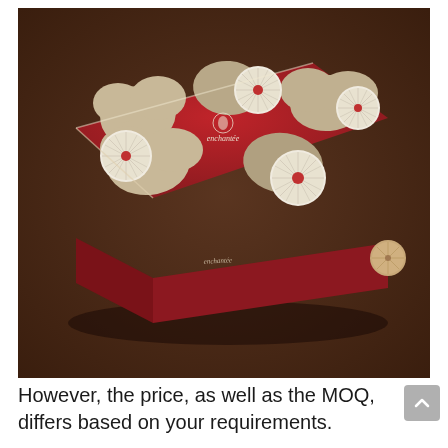[Figure (photo): A red gift box with cream/white flower/rosette decorations and tan cloud-shaped patches, branded with 'enchantée' logo on top, photographed at an angle on a dark brown background.]
However, the price, as well as the MOQ, differs based on your requirements.